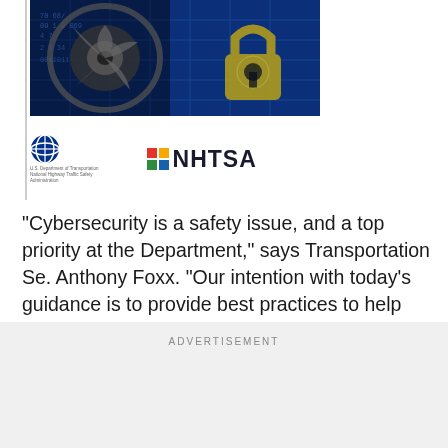[Figure (photo): A composite image showing a car engine/vehicle component on the left with digital circuit board patterns overlaid, and a keyhole/padlock icon on the right against a blue circuit board background, representing automotive cybersecurity.]
[Figure (logo): U.S. Department of Transportation / National Highway Traffic Safety Administration (NHTSA) logo, with DOT eagle emblem on left and NHTSA text logo with colored squares on right.]
“Cybersecurity is a safety issue, and a top priority at the Department,” says Transportation Se. Anthony Foxx. “Our intention with today’s guidance is to provide best practices to help protect against breaches and other security failures that can put motor vehicle safety.”
ADVERTISEMENT